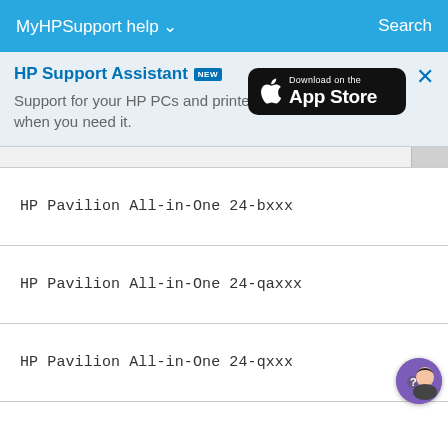MyHPSupport help ∨   Search
HP Support Assistant NEW
Support for your HP PCs and printers when you need it.
[Figure (logo): Download on the App Store badge]
HP Pavilion All-in-One 24-bxxx
HP Pavilion All-in-One 24-qaxxx
HP Pavilion All-in-One 24-qxxx